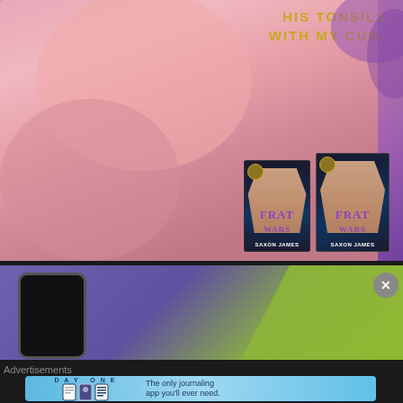[Figure (illustration): Book promotional image for 'Frat Wars' by Saxon James. Shows two people in an intimate pose on a pink/purple background with text overlay 'HIS TONSILS WITH MY CUM.' Book covers (print and ebook) shown in lower right corner.]
[Figure (photo): Advertisement banner with purple and green gradient background. Shows a smartphone mockup on the left and a close/X button on the right.]
Advertisements
[Figure (illustration): Day One journaling app advertisement on a light blue background. Shows app logo icons and text 'The only journaling app you'll ever need.']